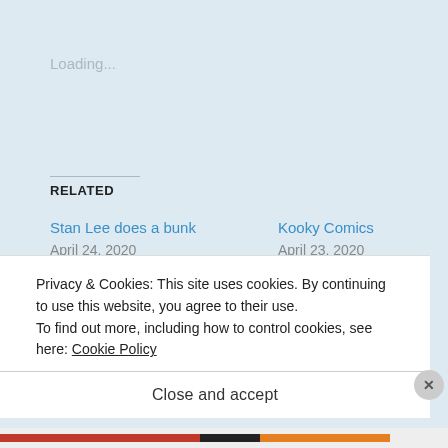Loading...
RELATED
Stan Lee does a bunk
April 24, 2020
In "comic books"
Kooky Comics
April 23, 2020
In "comic books"
Getting Macho with The Avengers
Privacy & Cookies: This site uses cookies. By continuing to use this website, you agree to their use.
To find out more, including how to control cookies, see here: Cookie Policy
Close and accept